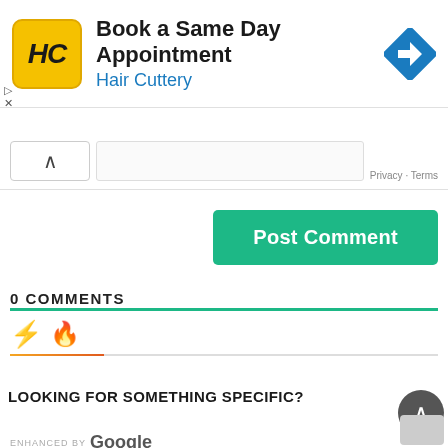[Figure (screenshot): Advertisement banner for Hair Cuttery showing logo, 'Book a Same Day Appointment' text, 'Hair Cuttery' subtitle in blue, and a blue navigation/map icon on the right. Ad control buttons (play, close) on left side.]
[Figure (screenshot): Comment form area with chevron/collapse button, text input area, and Privacy/Terms link]
[Figure (screenshot): Green 'Post Comment' button]
0 COMMENTS
[Figure (screenshot): Comment section with teal underline, lightning bolt icon and fire icon, with orange-red progress bar underneath]
LOOKING FOR SOMETHING SPECIFIC?
[Figure (screenshot): Scroll-to-top button (dark circle with up chevron) and Google enhanced search box]